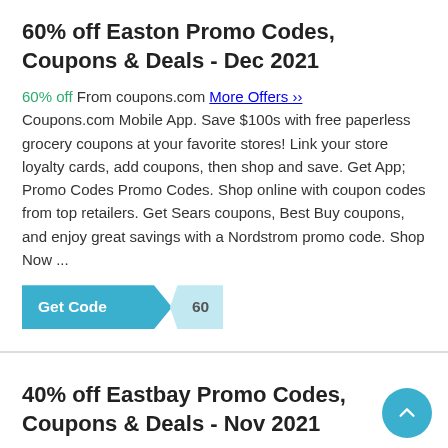60% off Easton Promo Codes, Coupons & Deals - Dec 2021
60% off From coupons.com More Offers »» Coupons.com Mobile App. Save $100s with free paperless grocery coupons at your favorite stores! Link your store loyalty cards, add coupons, then shop and save. Get App; Promo Codes Promo Codes. Shop online with coupon codes from top retailers. Get Sears coupons, Best Buy coupons, and enjoy great savings with a Nordstrom promo code. Shop Now ...
[Figure (other): Get Code button with reveal label showing '60']
40% off Eastbay Promo Codes, Coupons & Deals - Nov 2021